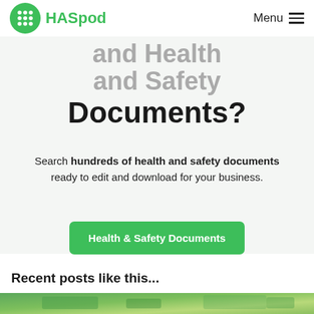HASpod — Menu
and Health and Safety Documents?
Search hundreds of health and safety documents ready to edit and download for your business.
Health & Safety Documents
Recent posts like this...
[Figure (photo): Green/nature background image thumbnail at bottom of page]